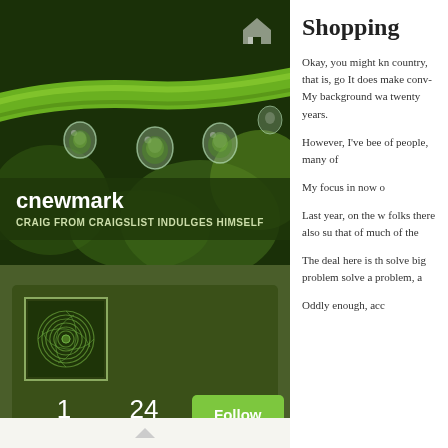[Figure (photo): Close-up macro photo of water droplets hanging from a green plant stem/blade, with dark green bokeh background]
cnewmark
CRAIG FROM CRAIGSLIST INDULGES HIMSELF
[Figure (illustration): Square avatar image with green spiral/swirl pattern on dark green background]
1 FOLLOWING
24 FOLLOWERS
Follow
Shopping
Okay, you might kn country, that is, gov It does make conv My background wa twenty years.
However, I've bee of people, many of
My focus in now o
Last year, on the w folks there also sug that of much of the
The deal here is th solve big problems solve a problem, a
Oddly enough, acc